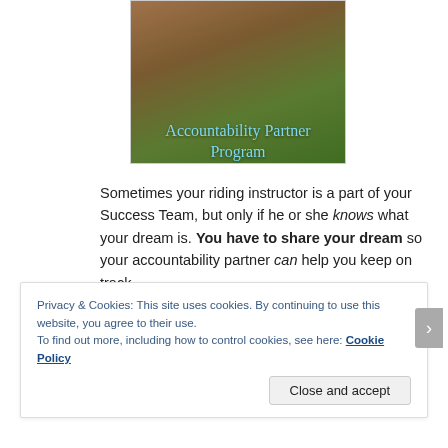[Figure (photo): Photo of cows/horses grazing with text overlay reading 'Accountability Partner Program' in blue/cyan text]
Sometimes your riding instructor is a part of your Success Team, but only if he or she knows what your dream is. You have to share your dream so your accountability partner can help you keep on track.
Here is the thing: other goals in life have a 'build in' accountability. That is why it is easy to accomplish your goals in almost all other fields than your hobby.
Privacy & Cookies: This site uses cookies. By continuing to use this website, you agree to their use.
To find out more, including how to control cookies, see here: Cookie Policy